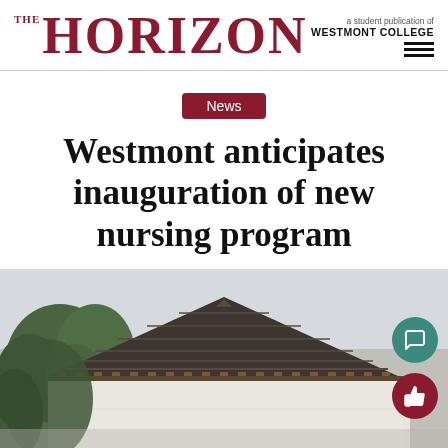THE HORIZON — a student publication of WESTMONT COLLEGE
News
Westmont anticipates inauguration of new nursing program
[Figure (photo): Photo of a Spanish-style building with a peaked tile roof, decorative wooden corbels, white stucco walls, and trees in the foreground against an overcast sky. Two circular floating action buttons are overlaid on the right side — a teal comment bubble icon and a dark red thumbs-up icon.]